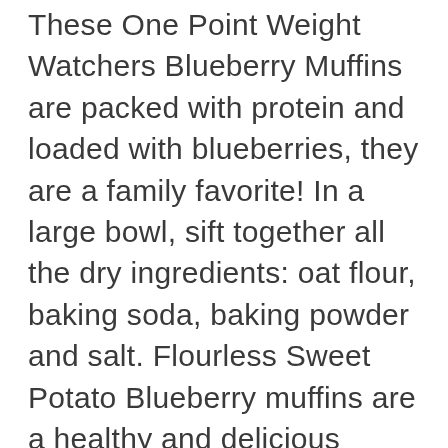These One Point Weight Watchers Blueberry Muffins are packed with protein and loaded with blueberries, they are a family favorite! In a large bowl, sift together all the dry ingredients: oat flour, baking soda, baking powder and salt. Flourless Sweet Potato Blueberry muffins are a healthy and delicious breakfast or snack made with 5 ingredients! Add the wet ingredients, except for … In a large mixing bowl, add all the dry ingredients and mix well. When ready to eat, just warm them in the microwave for 30 seconds for a delicious breakfast. Healthy blueberry muffins you can feel good about eating! Use of this site constitutes acceptance of our, These Are the Best and Worst Diets of 2021, Simple 20 Day Weight Loss Meal Plan: 1,200 Calories